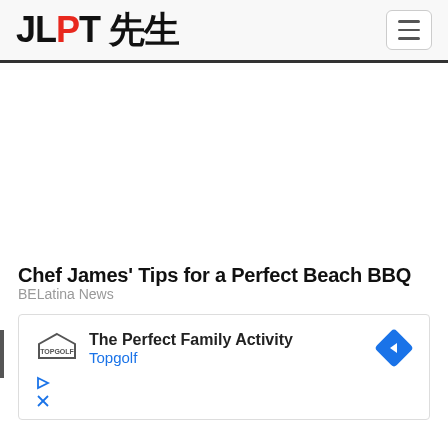JLPT 先生
Chef James' Tips for a Perfect Beach BBQ
BELatina News
[Figure (other): Advertisement box for Topgolf with text 'The Perfect Family Activity' and brand name 'Topgolf', with a blue diamond arrow icon and play/close icons below]